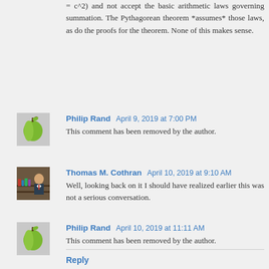= c^2) and not accept the basic arithmetic laws governing summation. The Pythagorean theorem *assumes* those laws, as do the proofs for the theorem. None of this makes sense.
Philip Rand  April 9, 2019 at 7:00 PM
This comment has been removed by the author.
Thomas M. Cothran  April 10, 2019 at 9:10 AM
Well, looking back on it I should have realized earlier this was not a serious conversation.
Philip Rand  April 10, 2019 at 11:11 AM
This comment has been removed by the author.
Reply